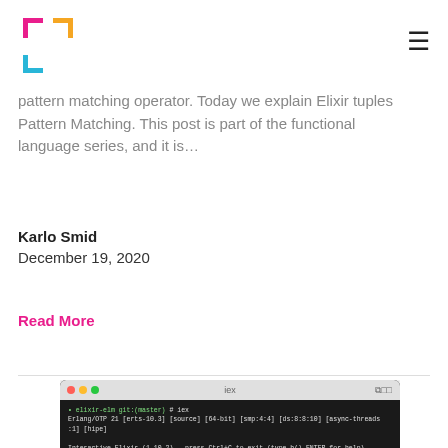[Logo and hamburger menu]
pattern matching operator. Today we explain Elixir tuples Pattern Matching. This post is part of the functional language series, and it is…
Karlo Smid
December 19, 2020
Read More
[Figure (screenshot): Terminal window showing Elixir interactive shell (iex) with Erlang/OTP 21 [erts-10.3] info, Interactive Elixir 1.10.2 prompt, and commands: iex(1)> a = 1, iex(2)> 1 = a]